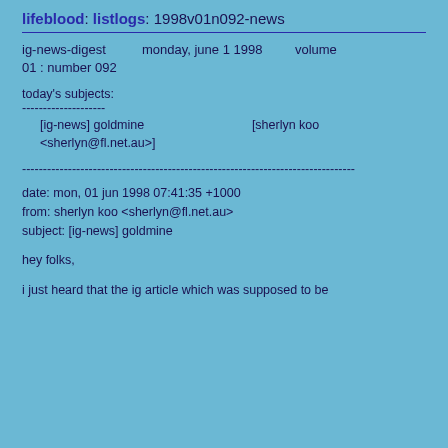lifeblood: listlogs: 1998v01n092-news
ig-news-digest   monday, june 1 1998   volume 01 : number 092
today's subjects:
--------------------
  [ig-news] goldmine   [sherlyn koo <sherlyn@fl.net.au>]
--------------------------------------------------------------------------------
date: mon, 01 jun 1998 07:41:35 +1000
from: sherlyn koo <sherlyn@fl.net.au>
subject: [ig-news] goldmine
hey folks,
i just heard that the ig article which was supposed to be